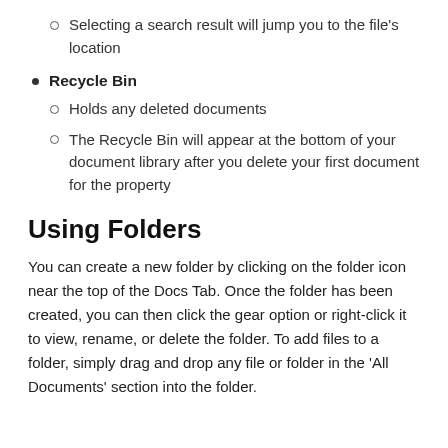Selecting a search result will jump you to the file's location
Recycle Bin
Holds any deleted documents
The Recycle Bin will appear at the bottom of your document library after you delete your first document for the property
Using Folders
You can create a new folder by clicking on the folder icon near the top of the Docs Tab. Once the folder has been created, you can then click the gear option or right-click it to view, rename, or delete the folder. To add files to a folder, simply drag and drop any file or folder in the 'All Documents' section into the folder.